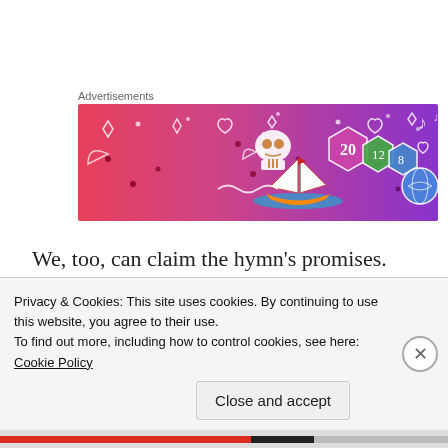Advertisements
[Figure (illustration): Colorful advertisement banner with gradient background from pink/red to purple, featuring illustrated icons: a sailboat, skull, dice, musical notes, hearts, and other decorative elements.]
We, too, can claim the hymn's promises.
As Americans, we are famously independent.  We are supposed to pull ourselves up by our bootstraps and succeed through commitment and hard work.  While
Privacy & Cookies: This site uses cookies. By continuing to use this website, you agree to their use.
To find out more, including how to control cookies, see here: Cookie Policy
Close and accept